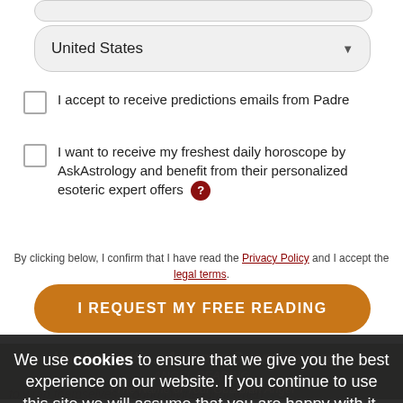[Figure (screenshot): A web form input field (empty, rounded rectangle, gray background) at top of page.]
[Figure (screenshot): A dropdown select box showing 'United States' with a down arrow, gray background, rounded rectangle.]
I accept to receive predictions emails from Padre
I want to receive my freshest daily horoscope by AskAstrology and benefit from their personalized esoteric expert offers ?
By clicking below, I confirm that I have read the Privacy Policy and I accept the legal terms.
[Figure (screenshot): Orange rounded button labeled 'I REQUEST MY FREE READING']
We use cookies to ensure that we give you the best experience on our website. If you continue to use this site we will assume that you are happy with it.
[Figure (screenshot): Red 'OK' button in cookie consent overlay]
Healing with... Ask our Guardian Angel ANGEL READING +The Name of Your Guardian Angel
to wrap themselves around Divine Light when